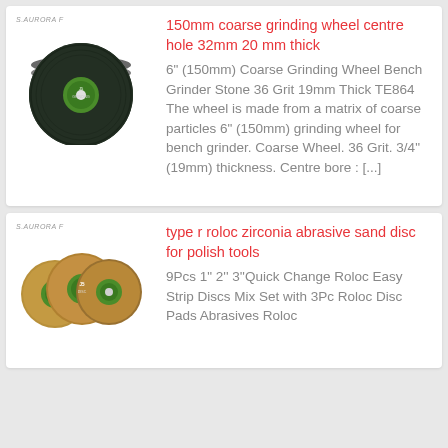[Figure (photo): Stack of dark green/black circular grinding wheels with green center labels, brand logo above]
150mm coarse grinding wheel centre hole 32mm 20 mm thick
6" (150mm) Coarse Grinding Wheel Bench Grinder Stone 36 Grit 19mm Thick TE864 The wheel is made from a matrix of coarse particles 6" (150mm) grinding wheel for bench grinder. Coarse Wheel. 36 Grit. 3/4" (19mm) thickness. Centre bore : [...]
[Figure (photo): Three tan/gold circular abrasive sanding discs with green center labels, brand logo above]
type r roloc zirconia abrasive sand disc for polish tools
9Pcs 1" 2'' 3''Quick Change Roloc Easy Strip Discs Mix Set with 3Pc Roloc Disc Pads Abrasives Roloc